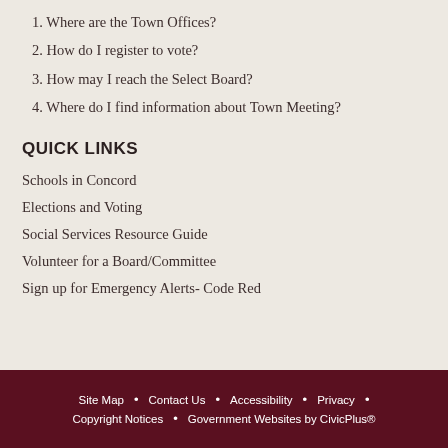1. Where are the Town Offices?
2. How do I register to vote?
3. How may I reach the Select Board?
4. Where do I find information about Town Meeting?
QUICK LINKS
Schools in Concord
Elections and Voting
Social Services Resource Guide
Volunteer for a Board/Committee
Sign up for Emergency Alerts- Code Red
Site Map • Contact Us • Accessibility • Privacy • Copyright Notices • Government Websites by CivicPlus®